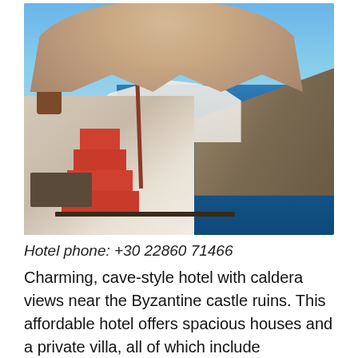[Figure (photo): A terrace with a beige umbrella overlooking the Santorini caldera. White-washed buildings cascade down the cliffside, with deep blue sea and a rocky cliff visible in the background. Red stairs and black iron railings are visible on the terrace.]
Hotel phone: +30 22860 71466
Charming, cave-style hotel with caldera views near the Byzantine castle ruins. This affordable hotel offers spacious houses and a private villa, all of which include